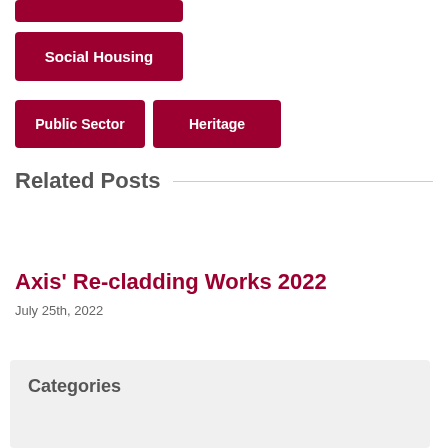Social Housing
Public Sector
Heritage
Related Posts
Axis' Re-cladding Works 2022
July 25th, 2022
Categories